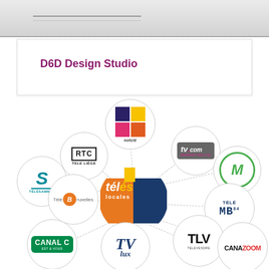D6D Design Studio
[Figure (infographic): Network diagram showing 'télés locales' in the center connected to surrounding Belgian local TV channel logos: notclé, RTC Tele Liège, tv.com, Télésambre, MA, Télé Bruxelles, TÉLÉ MB, CANAL C, TV Lux, Televesdre/TLV, Canazoom]